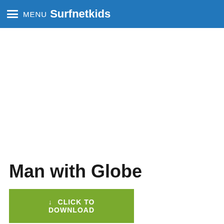MENU Surfnetkids
[Figure (other): Large blank white advertisement/image area in the middle of the page]
Man with Globe
↓ CLICK TO DOWNLOAD